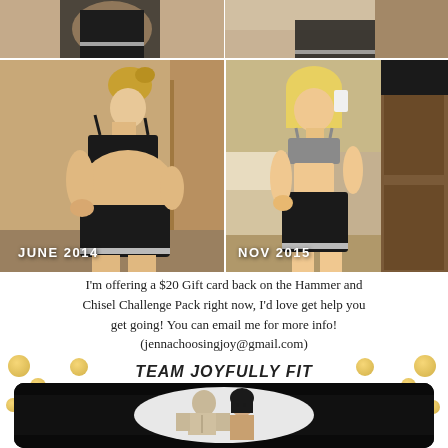[Figure (photo): Before and after fitness transformation photos. Top row: two partial body photos. Bottom row left: woman in black sports bra and shorts, side profile, labeled JUNE 2014. Bottom row right: woman in grey sports bra and black shorts, mirror selfie, labeled NOV 2015.]
I'm offering a $20 Gift card back on the Hammer and Chisel Challenge Pack right now, I'd love get help you get going! You can email me for more info! (jennachoosingjoy@gmail.com)
TEAM JOYFULLY FIT
[Figure (photo): Hammer and Chisel promotional card image showing a muscular man and woman in black and white, with black stripe banner design and rounded corners.]